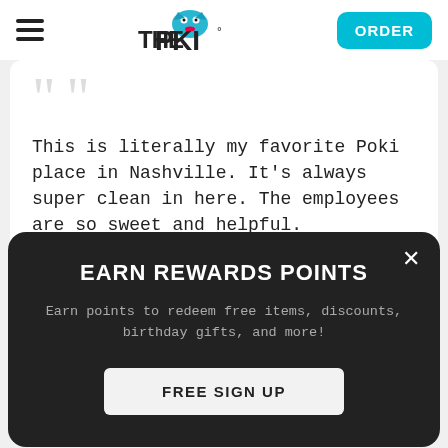THE POKI — ORDER
This is literally my favorite Poki place in Nashville. It's always super clean in here. The employees are so sweet and helpful.
EARN REWARDS POINTS
Earn points to redeem free items, discounts, birthday gifts, and more!
FREE SIGN UP